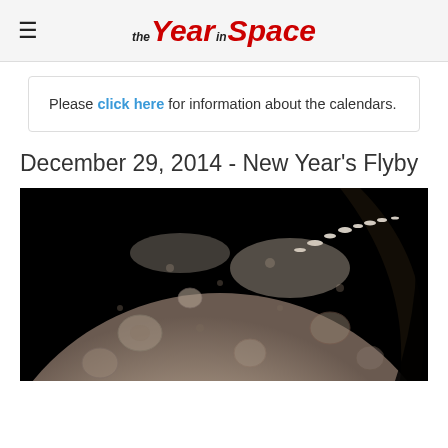the Year in Space
Please click here for information about the calendars.
December 29, 2014 - New Year's Flyby
[Figure (photo): Close-up photograph of the Moon's surface showing craters and mountains along the terminator line, against a black background. The image is in black and white/sepia tones showing the rugged lunar terrain.]